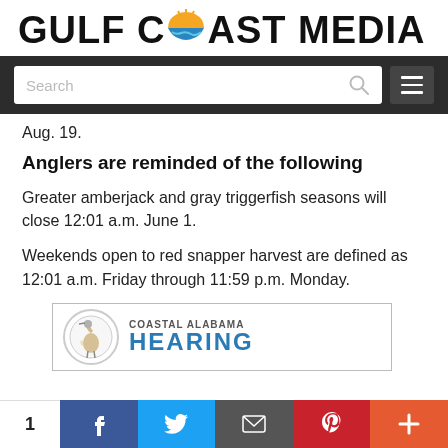[Figure (logo): Gulf Coast Media logo with stylized sun/wave icon replacing the letter O in COAST]
[Figure (screenshot): Website navigation bar with search input field and hamburger menu button on dark background]
Aug. 19.
Anglers are reminded of the following
Greater amberjack and gray triggerfish seasons will close 12:01 a.m. June 1.
Weekends open to red snapper harvest are defined as 12:01 a.m. Friday through 11:59 p.m. Monday.
[Figure (logo): Coastal Alabama Hearing advertisement banner with heron logo]
1 [social share buttons: Facebook, Twitter, Email, Pinterest, Plus]